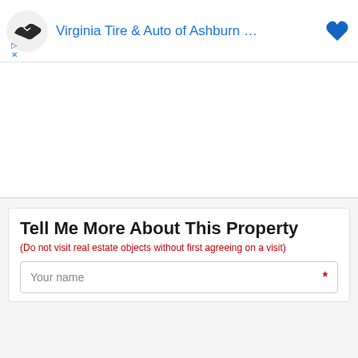[Figure (screenshot): Advertisement banner for Virginia Tire & Auto of Ashburn with handshake logo and blue heart icon]
Tell Me More About This Property
(Do not visit real estate objects without first agreeing on a visit)
Your name